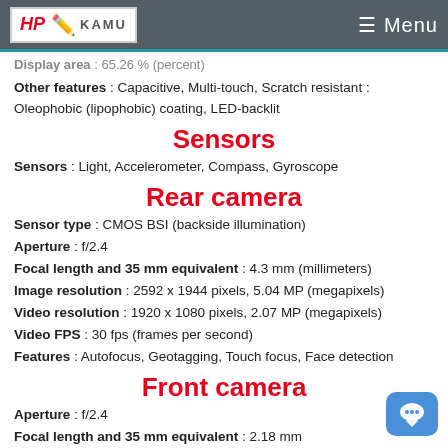HP KAMU | Menu
Display area : 65.26 % (percent)
Other features : Capacitive, Multi-touch, Scratch resistant : Oleophobic (lipophobic) coating, LED-backlit
Sensors
Sensors : Light, Accelerometer, Compass, Gyroscope
Rear camera
Sensor type : CMOS BSI (backside illumination)
Aperture : f/2.4
Focal length and 35 mm equivalent : 4.3 mm (millimeters)
Image resolution : 2592 x 1944 pixels, 5.04 MP (megapixels)
Video resolution : 1920 x 1080 pixels, 2.07 MP (megapixels)
Video FPS : 30 fps (frames per second)
Features : Autofocus, Geotagging, Touch focus, Face detection
Front camera
Aperture : f/2.4
Focal length and 35 mm equivalent : 2.18 mm